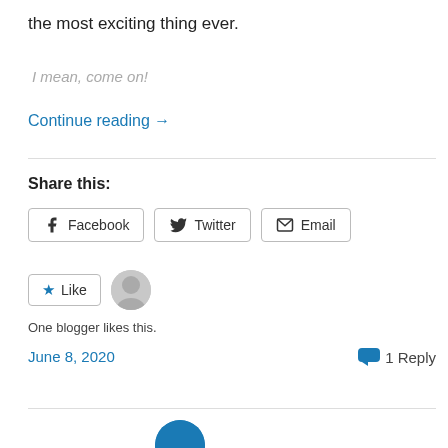the most exciting thing ever.
I mean, come on!
Continue reading →
Share this:
[Figure (other): Share buttons for Facebook, Twitter, and Email]
[Figure (other): Like button with star icon and user avatar placeholder. One blogger likes this.]
One blogger likes this.
June 8, 2020
1 Reply